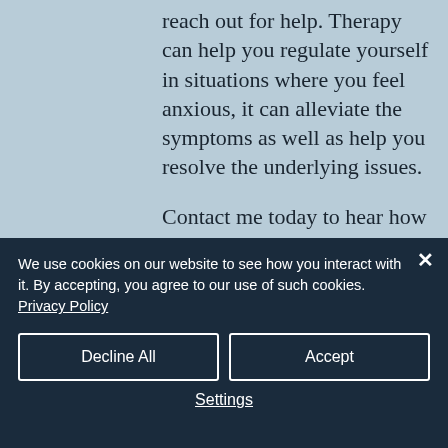reach out for help. Therapy can help you regulate yourself in situations where you feel anxious, it can alleviate the symptoms as well as help you resolve the underlying issues.

Contact me today to hear how I can help you.
We use cookies on our website to see how you interact with it. By accepting, you agree to our use of such cookies. Privacy Policy
Decline All
Accept
Settings